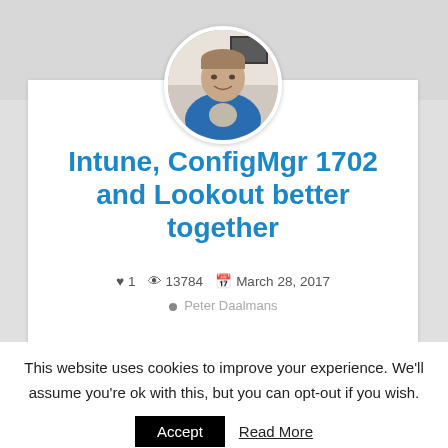[Figure (photo): Circular avatar photo of a man in a blue jacket, smiling, with a white wall background.]
Intune, ConfigMgr 1702 and Lookout better together
♥ 1   👁 13784   📅 March 28, 2017
• Peter Daalmans
This website uses cookies to improve your experience. We'll assume you're ok with this, but you can opt-out if you wish.  Accept  Read More